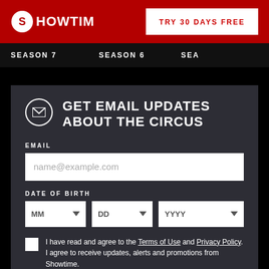SHOWTIME
TRY 30 DAYS FREE
SEASON 7
SEASON 6
SEA
GET EMAIL UPDATES ABOUT THE CIRCUS
EMAIL
name@example.com
DATE OF BIRTH
MM
DD
YYYY
I have read and agree to the Terms of Use and Privacy Policy. I agree to receive updates, alerts and promotions from Showtime.